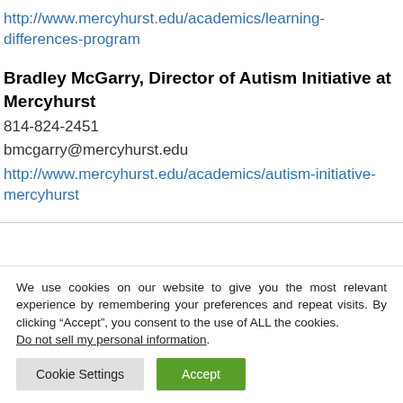http://www.mercyhurst.edu/academics/learning-differences-program
Bradley McGarry, Director of Autism Initiative at Mercyhurst
814-824-2451
bmcgarry@mercyhurst.edu
http://www.mercyhurst.edu/academics/autism-initiative-mercyhurst
We use cookies on our website to give you the most relevant experience by remembering your preferences and repeat visits. By clicking “Accept”, you consent to the use of ALL the cookies.
Do not sell my personal information.
Cookie Settings | Accept